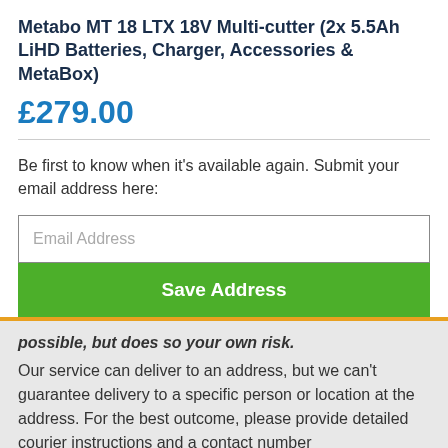Metabo MT 18 LTX 18V Multi-cutter (2x 5.5Ah LiHD Batteries, Charger, Accessories & MetaBox)
£279.00
Be first to know when it's available again. Submit your email address here:
Email Address
Save Address
possible, but does so your own risk. Our service can deliver to an address, but we can't guarantee delivery to a specific person or location at the address. For the best outcome, please provide detailed courier instructions and a contact number